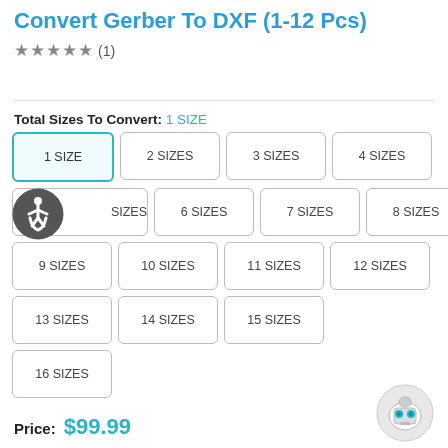Convert Gerber To DXF (1-12 Pcs)
★★★★★ (1)
Total Sizes To Convert: 1 SIZE
| 1 SIZE | 2 SIZES | 3 SIZES | 4 SIZES |
| 5 SIZES | 6 SIZES | 7 SIZES | 8 SIZES |
| 9 SIZES | 10 SIZES | 11 SIZES | 12 SIZES |
| 13 SIZES | 14 SIZES | 15 SIZES |  |
| 16 SIZES |  |  |  |
Price: $99.99